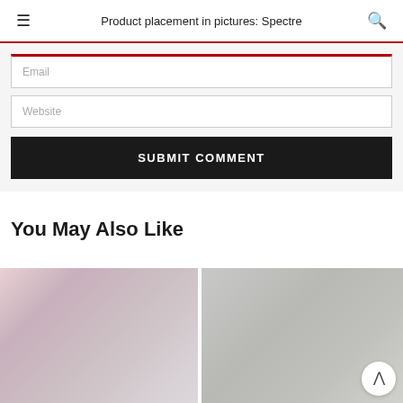Product placement in pictures: Spectre
Email
Website
SUBMIT COMMENT
You May Also Like
[Figure (photo): Blurred thumbnail image on the left, showing people or figures, pinkish tones]
[Figure (photo): Blurred thumbnail image on the right, showing an object on a grey background]